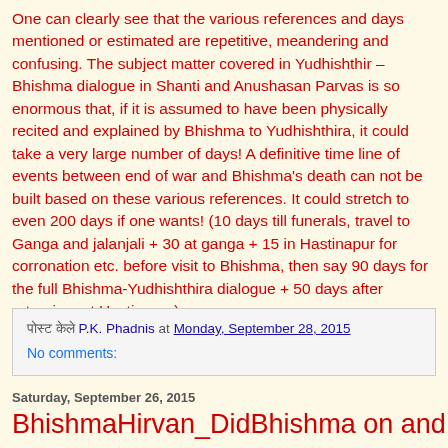One can clearly see that the various references and days mentioned or estimated are repetitive, meandering and confusing. The subject matter covered in Yudhishthir – Bhishma dialogue in Shanti and Anushasan Parvas is so enormous that, if it is assumed to have been physically recited and explained by Bhishma to Yudhishthira, it could take a very large number of days! A definitive time line of events between end of war and Bhishma's death can not be built based on these various references. It could stretch to even 200 days if one wants! (10 days till funerals, travel to Ganga and jalanjali + 30 at ganga + 15 in Hastinapur for corronation etc. before visit to Bhishma, then say 90 days for the full Bhishma-Yudhishthira dialogue + 50 days after returning, at Hastinapur). I will state my conclusions in the next post.
पोस्ट केले P.K. Phadnis at Monday, September 28, 2015 No comments:
Saturday, September 26, 2015
BhishmaНirvan_DidBhishma on and